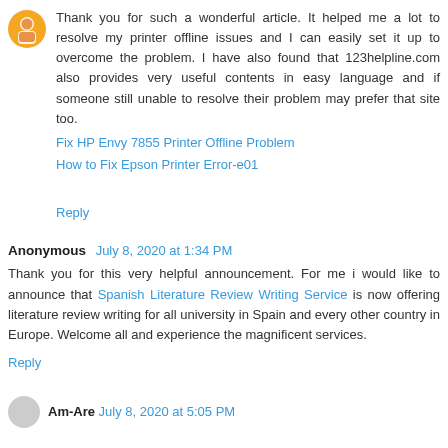[Figure (illustration): Orange circular avatar/profile icon with a person silhouette]
Thank you for such a wonderful article. It helped me a lot to resolve my printer offline issues and I can easily set it up to overcome the problem. I have also found that 123helpline.com also provides very useful contents in easy language and if someone still unable to resolve their problem may prefer that site too.
Fix HP Envy 7855 Printer Offline Problem
How to Fix Epson Printer Error-e01
Reply
Anonymous  July 8, 2020 at 1:34 PM
Thank you for this very helpful announcement. For me i would like to announce that Spanish Literature Review Writing Service is now offering literature review writing for all university in Spain and every other country in Europe. Welcome all and experience the magnificent services.
Reply
Am-Are  July 8, 2020 at 5:05 PM